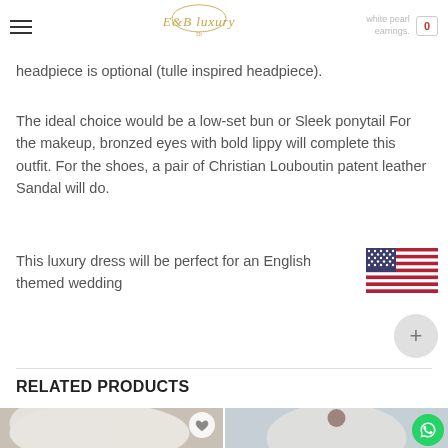E&B Luxury — navigation header with logo and cart
headpiece is optional (tulle inspired headpiece).
The ideal choice would be a low-set bun or Sleek ponytail For the makeup, bronzed eyes with bold lippy will complete this outfit. For the shoes, a pair of Christian Louboutin patent leather Sandal will do.
This luxury dress will be perfect for an English themed wedding
RELATED PRODUCTS
[Figure (photo): Product photo of a white ruffled/tulle bridal dress detail with a heart/wishlist button overlay]
[Figure (photo): Product photo of a Black bride in a white off-the-shoulder wedding dress with arms outstretched with WhatsApp button overlay]